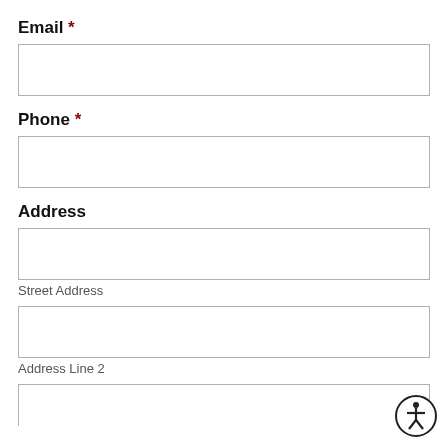Email *
[Figure (other): Empty text input field for Email]
Phone *
[Figure (other): Empty text input field for Phone]
Address
[Figure (other): Empty text input field for Street Address]
Street Address
[Figure (other): Empty text input field for Address Line 2]
Address Line 2
[Figure (other): Empty text input field (third address line)]
[Figure (illustration): Accessibility icon (person in circle)]